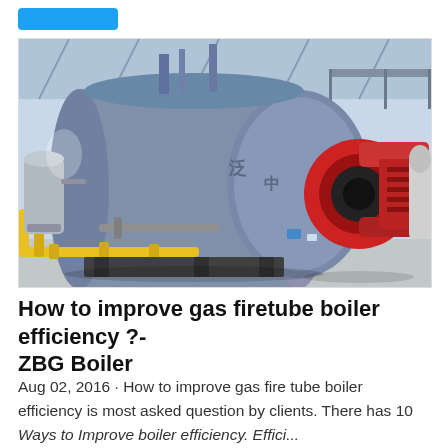[Figure (photo): Industrial gas firetube boiler in a factory setting. A large blue/grey cylindrical boiler vessel with a red burner attached on the right side. Yellow gas pipes run along the floor. Another boiler is partially visible on the right. The facility has a metal roof structure.]
How to improve gas firetube boiler efficiency ?- ZBG Boiler
Aug 02, 2016 · How to improve gas fire tube boiler efficiency is most asked question by clients. There has 10 Ways to Improve boiler efficiency. Effici...